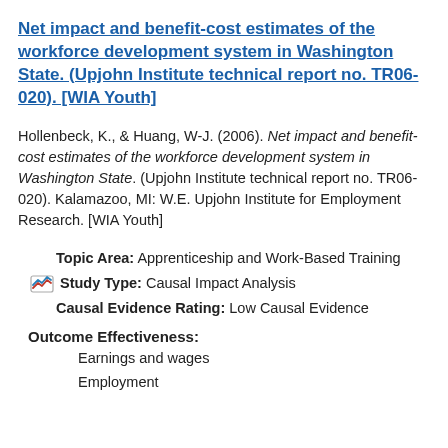Net impact and benefit-cost estimates of the workforce development system in Washington State. (Upjohn Institute technical report no. TR06-020). [WIA Youth]
Hollenbeck, K., & Huang, W-J. (2006). Net impact and benefit-cost estimates of the workforce development system in Washington State. (Upjohn Institute technical report no. TR06-020). Kalamazoo, MI: W.E. Upjohn Institute for Employment Research. [WIA Youth]
Topic Area: Apprenticeship and Work-Based Training
Study Type: Causal Impact Analysis
Causal Evidence Rating: Low Causal Evidence
Outcome Effectiveness:
Earnings and wages
Employment